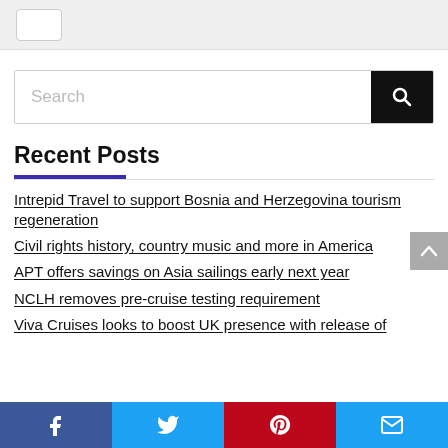[Figure (screenshot): Top navigation bar with a button/widget]
[Figure (screenshot): Search input box with black search button]
Recent Posts
Intrepid Travel to support Bosnia and Herzegovina tourism regeneration
Civil rights history, country music and more in America
APT offers savings on Asia sailings early next year
NCLH removes pre-cruise testing requirement
Viva Cruises looks to boost UK presence with release of
[Figure (screenshot): Social share bar with Facebook, Twitter, Pinterest, and Email buttons]